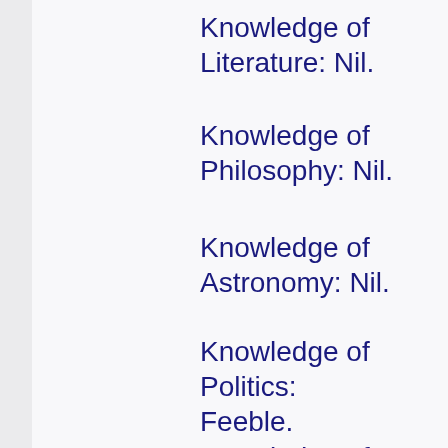Knowledge of Literature: Nil.
Knowledge of Philosophy: Nil.
Knowledge of Astronomy: Nil.
Knowledge of Politics: Feeble.
Knowledge of Botany: Variable. Well up in